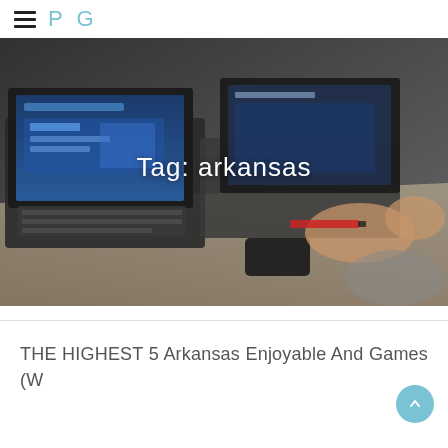PG
Tag: arkansas
[Figure (photo): Person sitting at a desk with two laptops open, holding a red marker over a notepad. VAIO laptop visible in background.]
THE HIGHEST 5 Arkansas Enjoyable And Games (W